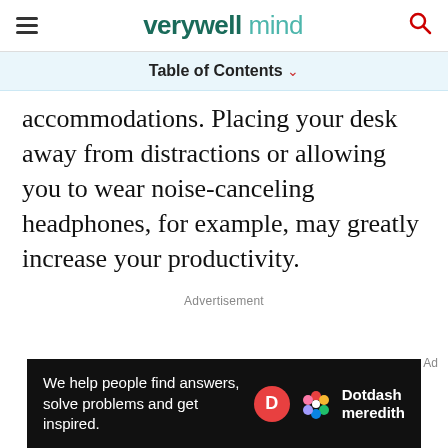verywell mind
Table of Contents
accommodations. Placing your desk away from distractions or allowing you to wear noise-canceling headphones, for example, may greatly increase your productivity.
Advertisement
Ad
[Figure (other): Dotdash Meredith advertisement banner: 'We help people find answers, solve problems and get inspired.' with Dotdash Meredith logo]